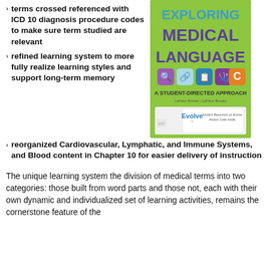terms crossed referenced with ICD 10 diagnosis procedure codes to make sure term studied are relevant
[Figure (illustration): Book cover of 'Exploring Medical Language: A Student-Directed Approach' with green background, blue and purple title text, icons, and Evolve resources logo]
refined learning system to more fully realize learning styles and support long-term memory
reorganized Cardiovascular, Lymphatic, and Immune Systems, and Blood content in Chapter 10 for easier delivery of instruction
The unique learning system the division of medical terms into two categories: those built from word parts and those not, each with their own dynamic and individualized set of learning activities, remains the cornerstone feature of the